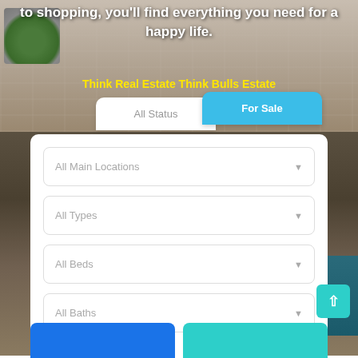to shopping, you'll find everything you need for a happy life.
Think Real Estate Think Bulls Estate
[Figure (screenshot): Real estate website search interface with background photo of a living room sofa and pillows. Shows tab buttons 'All Status' and 'For Sale' (blue), with a white panel containing four dropdown filters.]
All Status
For Sale
All Main Locations
All Types
All Beds
All Baths